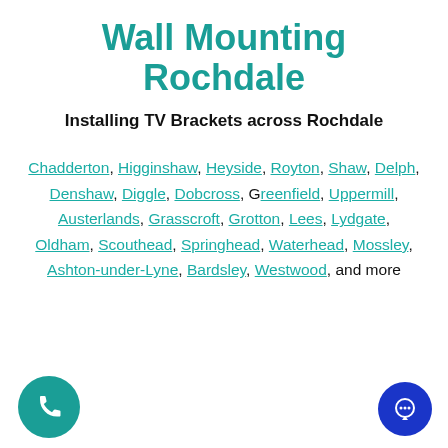Wall Mounting Rochdale
Installing TV Brackets across Rochdale
Chadderton, Higginshaw, Heyside, Royton, Shaw, Delph, Denshaw, Diggle, Dobcross, Greenfield, Uppermill, Austerlands, Grasscroft, Grotton, Lees, Lydgate, Oldham, Scouthead, Springhead, Waterhead, Mossley, Ashton-under-Lyne, Bardsley, Westwood, and more